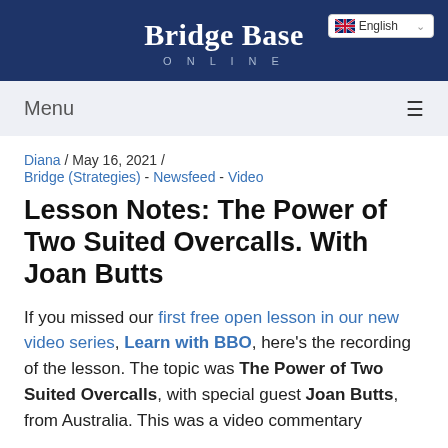Bridge Base ONLINE
Diana / May 16, 2021 / Bridge (Strategies) - Newsfeed - Video
Lesson Notes: The Power of Two Suited Overcalls. With Joan Butts
If you missed our first free open lesson in our new video series, Learn with BBO, here's the recording of the lesson. The topic was The Power of Two Suited Overcalls, with special guest Joan Butts, from Australia. This was a video commentary